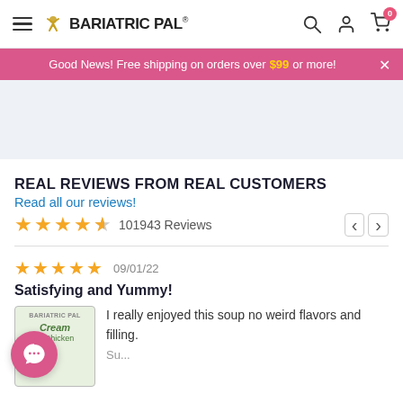BariatricPal
Good News! Free shipping on orders over $99 or more!
REAL REVIEWS FROM REAL CUSTOMERS
Read all our reviews!
101943 Reviews
09/01/22
Satisfying and Yummy!
I really enjoyed this soup no weird flavors and filling.